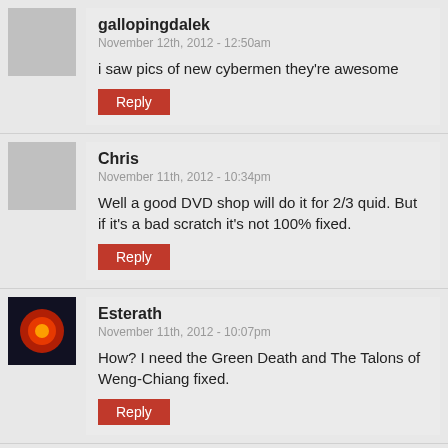gallopingdalek
November 12th, 2012 - 12:50am
i saw pics of new cybermen they're awesome
Reply
Chris
November 11th, 2012 - 10:34pm
Well a good DVD shop will do it for 2/3 quid. But if it's a bad scratch it's not 100% fixed.
Reply
Esterath
November 11th, 2012 - 10:07pm
How? I need the Green Death and The Talons of Weng-Chiang fixed.
Reply
Chris